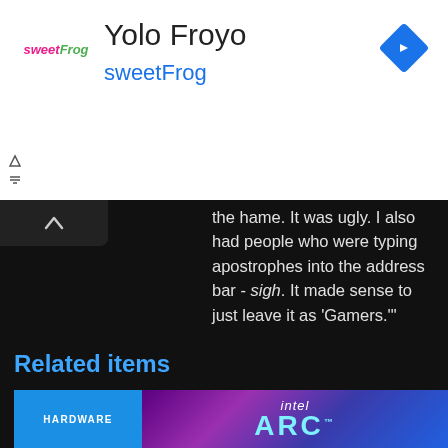[Figure (screenshot): Ad banner for sweetFrog 'Yolo Froyo' location with logo, title, subtitle, navigation arrow icon, and ad controls]
the hame. It was ugly. I also had people who were typing apostrophes into the address bar - sigh. It made sense to just leave it as 'Gamers.'"
First world problems, Steve. First world problems.
Related items
[Figure (screenshot): Related items card showing HARDWARE badge and Intel Arc logo on purple gradient background]